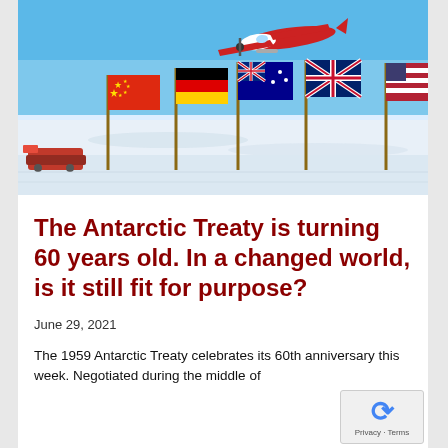[Figure (photo): A red and white twin-engine aircraft flying over a snow-covered Antarctic landscape with six international flags on poles in the foreground (including flags of China, Germany, Australia, United Kingdom, and USA), and a small vehicle visible on the left side.]
The Antarctic Treaty is turning 60 years old. In a changed world, is it still fit for purpose?
June 29, 2021
The 1959 Antarctic Treaty celebrates its 60th anniversary this week. Negotiated during the middle of